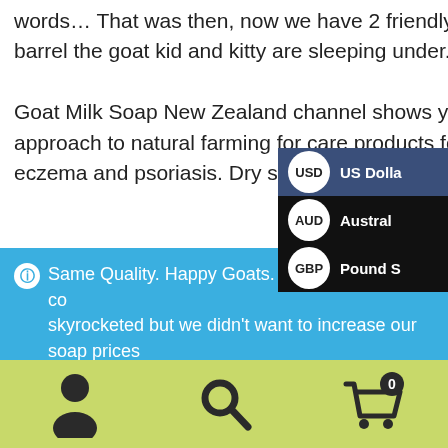Some of you will know what happened, just from those words... That was then, now we have 2 friendly cats. One is from a litter of 4 born in the barrel the goat kid and kitty are sleeping under.

Goat Milk Soap New Zealand channel shows you our approach to natural farming for care products for dry skin, eczema and psoriasis. Dry skin is a common proble...
Same Quality. Happy Goats. No Boxes!! - Our costs skyrocketed but we didn't want to increase our soap prices or skimp on our beloved goats' mineral supplementation. So no soap boxes for now. We will send naked soap by DHL. Thank you for your understanding.
Dismiss